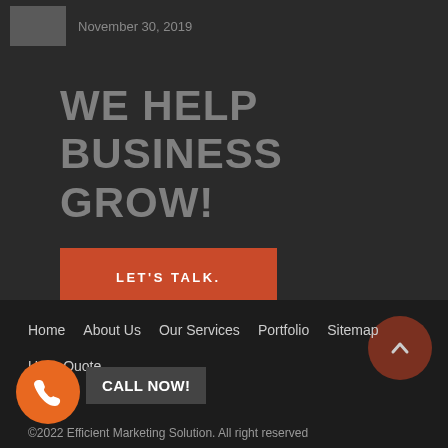November 30, 2019
WE HELP BUSINESS GROW!
LET'S TALK.
Home
About Us
Our Services
Portfolio
Sitemap
Us
Quote
CALL NOW!
©2022 Efficient Marketing Solution. All right reserved